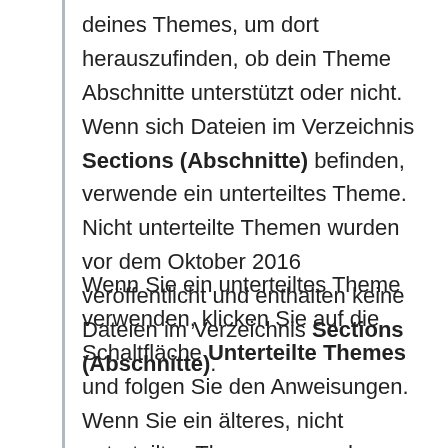deines Themes, um dort herauszufinden, ob dein Theme Abschnitte unterstützt oder nicht. Wenn sich Dateien im Verzeichnis Sections (Abschnitte) befinden, verwende ein unterteiltes Theme. Nicht unterteilte Themen wurden vor dem Oktober 2016 veröffentlicht und enthalten keine Dateien im Verzeichnis Sections (Abschnitte).
Wenn Sie ein unterteiltes Theme verwenden, klicken Sie auf die Schaltfläche Unterteilte Themes und folgen Sie den Anweisungen. Wenn Sie ein älteres, nicht unterteiltes Theme verwenden, klicken Sie auf die Schaltfläche Nicht unterteilte...